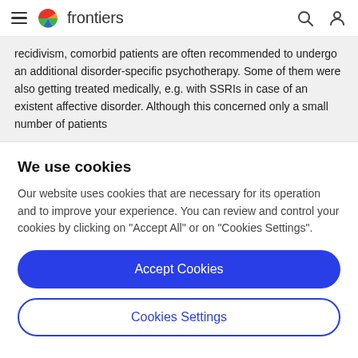frontiers
recidivism, comorbid patients are often recommended to undergo an additional disorder-specific psychotherapy. Some of them were also getting treated medically, e.g. with SSRIs in case of an existent affective disorder. Although this concerned only a small number of patients
We use cookies
Our website uses cookies that are necessary for its operation and to improve your experience. You can review and control your cookies by clicking on "Accept All" or on "Cookies Settings".
Accept Cookies
Cookies Settings